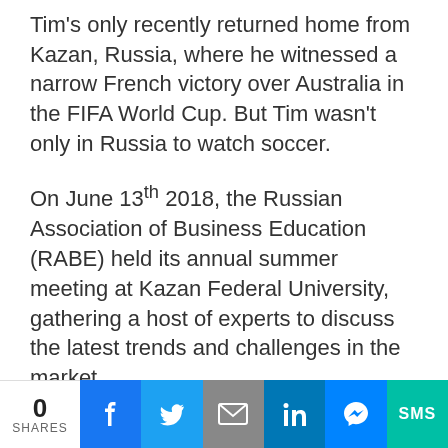Tim's only recently returned home from Kazan, Russia, where he witnessed a narrow French victory over Australia in the FIFA World Cup. But Tim wasn't only in Russia to watch soccer.
On June 13th 2018, the Russian Association of Business Education (RABE) held its annual summer meeting at Kazan Federal University, gathering a host of experts to discuss the latest trends and challenges in the market.
The hot topic on everyone's lips?
[Figure (other): Social share bar with 0 shares count, and buttons for Facebook, Twitter, Email, LinkedIn, Messenger, and SMS]